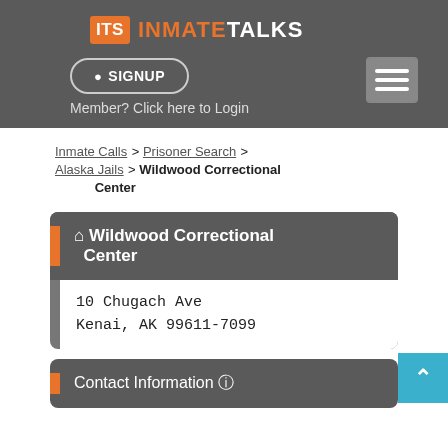[Figure (logo): InmateTalks logo with orange ITS box and white/orange text]
SIGNUP
Member? Click here to Login
Inmate Calls > Prisoner Search > Alaska Jails > Wildwood Correctional Center
Wildwood Correctional Center
10 Chugach Ave
Kenai, AK 99611-7099
Contact Information